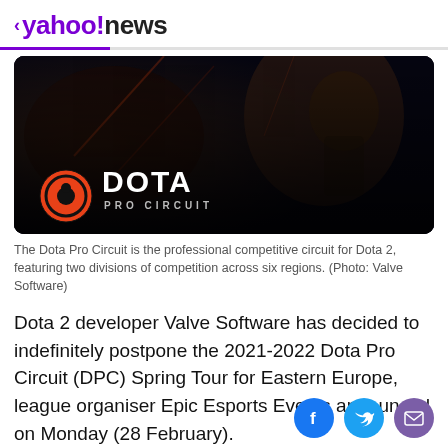< yahoo!news
[Figure (photo): Dota Pro Circuit banner image showing a dark fantasy game art with a character in the background, and the Dota Pro Circuit logo (orange circular icon and white DOTA PRO CIRCUIT text) in the lower left on a dark background.]
The Dota Pro Circuit is the professional competitive circuit for Dota 2, featuring two divisions of competition across six regions. (Photo: Valve Software)
Dota 2 developer Valve Software has decided to indefinitely postpone the 2021-2022 Dota Pro Circuit (DPC) Spring Tour for Eastern Europe, league organiser Epic Esports Events announced on Monday (28 February).